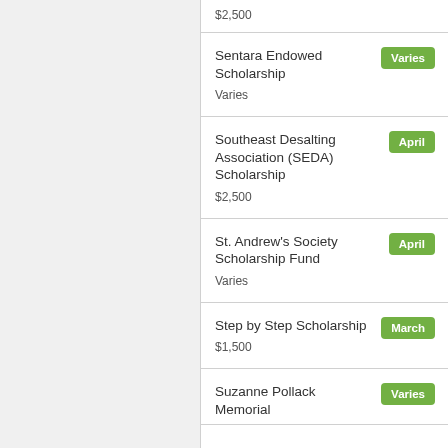$2,500
Sentara Endowed Scholarship — Varies — Varies
Southeast Desalting Association (SEDA) Scholarship — April — $2,500
St. Andrew's Society Scholarship Fund — April — Varies
Step by Step Scholarship — March — $1,500
Suzanne Pollack Memorial — Varies